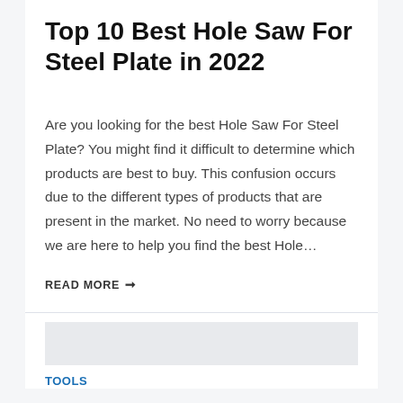Top 10 Best Hole Saw For Steel Plate in 2022
Are you looking for the best Hole Saw For Steel Plate? You might find it difficult to determine which products are best to buy. This confusion occurs due to the different types of products that are present in the market. No need to worry because we are here to help you find the best Hole…
READ MORE →
TOOLS